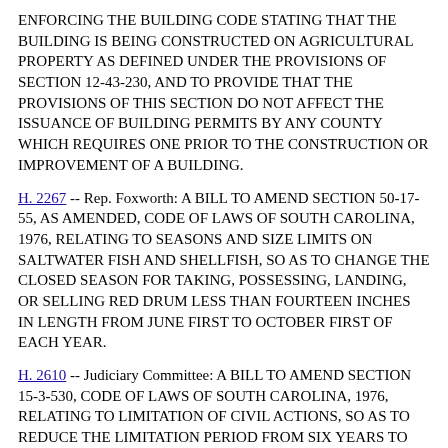ENFORCING THE BUILDING CODE STATING THAT THE BUILDING IS BEING CONSTRUCTED ON AGRICULTURAL PROPERTY AS DEFINED UNDER THE PROVISIONS OF SECTION 12-43-230, AND TO PROVIDE THAT THE PROVISIONS OF THIS SECTION DO NOT AFFECT THE ISSUANCE OF BUILDING PERMITS BY ANY COUNTY WHICH REQUIRES ONE PRIOR TO THE CONSTRUCTION OR IMPROVEMENT OF A BUILDING.
H. 2267 -- Rep. Foxworth: A BILL TO AMEND SECTION 50-17-55, AS AMENDED, CODE OF LAWS OF SOUTH CAROLINA, 1976, RELATING TO SEASONS AND SIZE LIMITS ON SALTWATER FISH AND SHELLFISH, SO AS TO CHANGE THE CLOSED SEASON FOR TAKING, POSSESSING, LANDING, OR SELLING RED DRUM LESS THAN FOURTEEN INCHES IN LENGTH FROM JUNE FIRST TO OCTOBER FIRST OF EACH YEAR.
H. 2610 -- Judiciary Committee: A BILL TO AMEND SECTION 15-3-530, CODE OF LAWS OF SOUTH CAROLINA, 1976, RELATING TO LIMITATION OF CIVIL ACTIONS, SO AS TO REDUCE THE LIMITATION PERIOD FROM SIX YEARS TO THREE YEARS; TO AMEND SECTION 15-3-535, RELATING TO THE TIME WITHIN WHICH CERTAIN ACTIONS FOR CRIMINAL CONVERSATION AND THEIR ACTIONS MUST